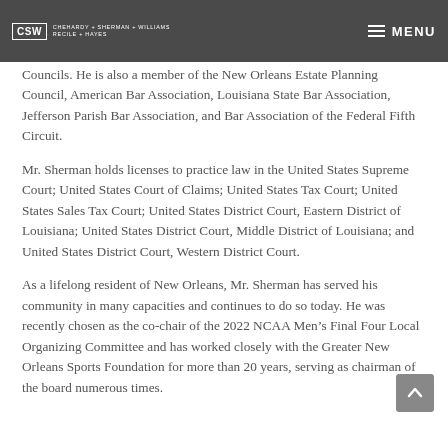CSW CHEHARDY + SHERMAN + WILLIAMS RECILE + HAYES | MENU
Councils. He is also a member of the New Orleans Estate Planning Council, American Bar Association, Louisiana State Bar Association, Jefferson Parish Bar Association, and Bar Association of the Federal Fifth Circuit.
Mr. Sherman holds licenses to practice law in the United States Supreme Court; United States Court of Claims; United States Tax Court; United States Sales Tax Court; United States District Court, Eastern District of Louisiana; United States District Court, Middle District of Louisiana; and United States District Court, Western District Court.
As a lifelong resident of New Orleans, Mr. Sherman has served his community in many capacities and continues to do so today. He was recently chosen as the co-chair of the 2022 NCAA Men’s Final Four Local Organizing Committee and has worked closely with the Greater New Orleans Sports Foundation for more than 20 years, serving as chairman of the board numerous times.